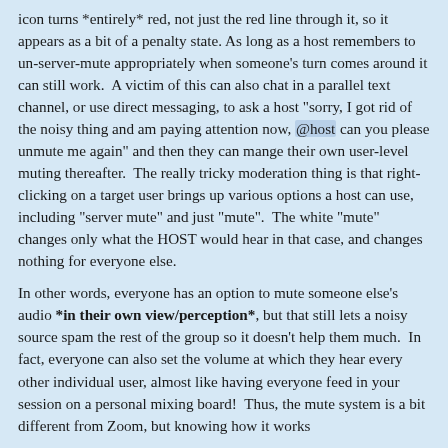icon turns *entirely* red, not just the red line through it, so it appears as a bit of a penalty state. As long as a host remembers to un-server-mute appropriately when someone's turn comes around it can still work.  A victim of this can also chat in a parallel text channel, or use direct messaging, to ask a host "sorry, I got rid of the noisy thing and am paying attention now, @host can you please unmute me again" and then they can mange their own user-level muting thereafter.  The really tricky moderation thing is that right-clicking on a target user brings up various options a host can use, including "server mute" and just "mute".  The white "mute" changes only what the HOST would hear in that case, and changes nothing for everyone else.
In other words, everyone has an option to mute someone else's audio *in their own view/perception*, but that still lets a noisy source spam the rest of the group so it doesn't help them much.  In fact, everyone can also set the volume at which they hear every other individual user, almost like having everyone feed in your session on a personal mixing board!  Thus, the mute system is a bit different from Zoom, but knowing how it works